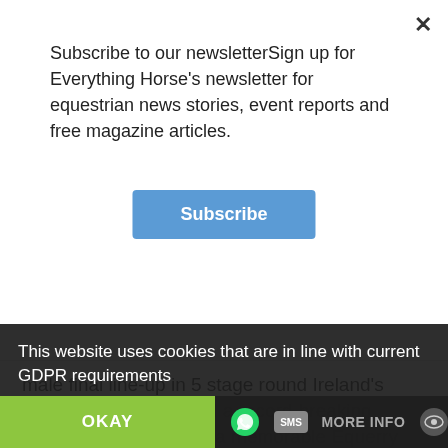Subscribe to our newsletterSign up for Everything Horse's newsletter for equestrian news stories, event reports and free magazine articles.
Subscribe
male final line-up in 5 stage round Ireland's Shane Breen produced a record-breaking performance making it a memorable Equerry Bolesworth International Puissance on Friday night. Bolesworth's International Arena was at its majestic best in glorious sunshine as a capacity crowd witnessed a truly outstanding…
READ MORE
This website uses cookies that are in line with current GDPR requirements
OKAY
MORE INFO